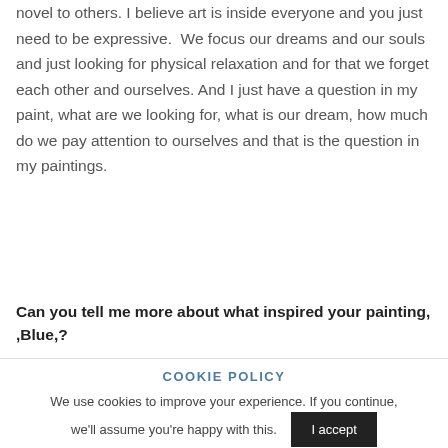novel to others. I believe art is inside everyone and you just need to be expressive.  We focus our dreams and our souls and just looking for physical relaxation and for that we forget each other and ourselves. And I just have a question in my paint, what are we looking for, what is our dream, how much do we pay attention to ourselves and that is the question in my paintings.
Can you tell me more about what inspired your painting, ,Blue,?
COOKIE POLICY
We use cookies to improve your experience. If you continue, we'll assume you're happy with this.
I accept
Read More